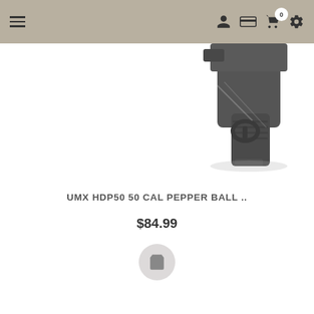Navigation bar with hamburger menu, user icon, card icon, cart icon with badge 0, and settings icon
[Figure (photo): Partial photo of a dark grey/black UMX HDP50 pepper ball pistol, showing the upper right portion of the firearm against a white background]
UMX HDP50 50 CAL PEPPER BALL ..
$84.99
[Figure (other): Round grey add-to-cart button with a shopping cart icon]